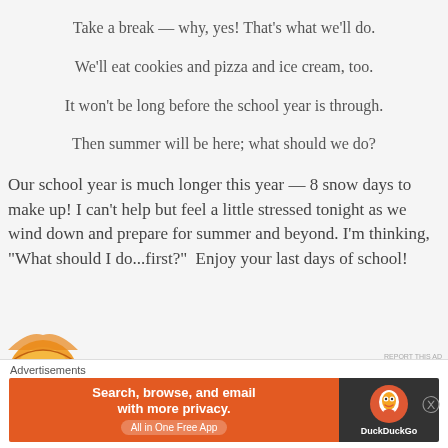Take a break — why, yes! That's what we'll do.
We'll eat cookies and pizza and ice cream, too.
It won't be long before the school year is through.
Then summer will be here; what should we do?
Our school year is much longer this year — 8 snow days to make up! I can't help but feel a little stressed tonight as we wind down and prepare for summer and beyond. I'm thinking, "What should I do...first?"  Enjoy your last days of school!
[Figure (illustration): Partial illustration visible at the bottom of the page, circular shape with orange/yellow tones, likely a sun or face illustration]
Advertisements — Search, browse, and email with more privacy. All in One Free App — DuckDuckGo